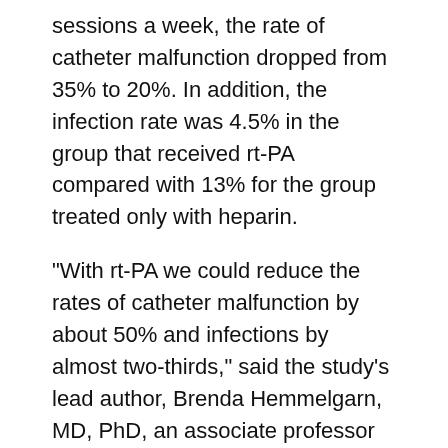sessions a week, the rate of catheter malfunction dropped from 35% to 20%. In addition, the infection rate was 4.5% in the group that received rt-PA compared with 13% for the group treated only with heparin.
"With rt-PA we could reduce the rates of catheter malfunction by about 50% and infections by almost two-thirds," said the study's lead author, Brenda Hemmelgarn, MD, PhD, an associate professor of medicine at the University of Calgary in Alberta, Canada.
Results of the study are published in The New England Journal of Medicine, and funding for the study was provided by Hoffmann-La Roche, a manufacturer of rt-PA.